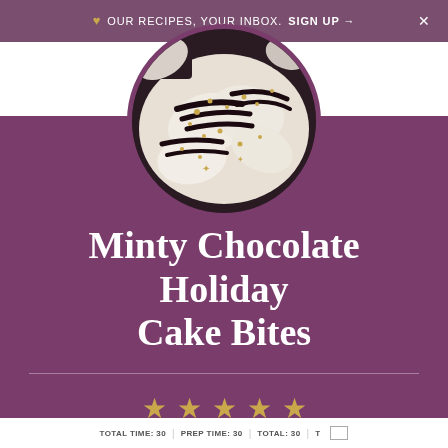♥ OUR RECIPES, YOUR INBOX. SIGN UP → ×
[Figure (photo): Circular cropped photo of minty chocolate holiday cake bites with dark chocolate drizzle and gold sprinkles on white chocolate coating]
Minty Chocolate Holiday Cake Bites
★ ★ ★ ★ ★
5 from 8 reviews
TOTAL TIME: 30 min | PREP TIME: 30 min | SERVES: T